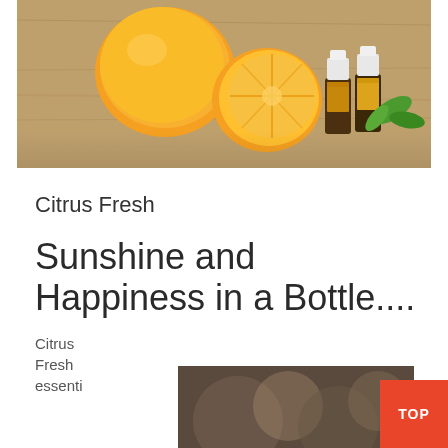[Figure (photo): Photo of oranges (whole and halved) with two small essential oil bottles and green leaves on a weathered wooden surface.]
Citrus Fresh
Sunshine and Happiness in a Bottle....
Citrus Fresh essenti
[Figure (photo): Thumbnail photo with blurred bokeh background in brown/sepia tones.]